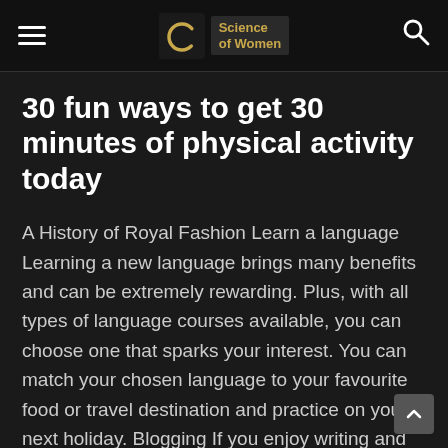Science of Women
30 fun ways to get 30 minutes of physical activity today
A History of Royal Fashion Learn a language Learning a new language brings many benefits and can be extremely rewarding. Plus, with all types of language courses available, you can choose one that sparks your interest. You can match your chosen language to your favourite food or travel destination and practice on your next holiday. Blogging If you enjoy writing and sharing your interests and opinions, blogging could well be the hobby for you. It gives you a platform to organise your thoughts, express your feelings, and connect with people across the world. Woodworkin...